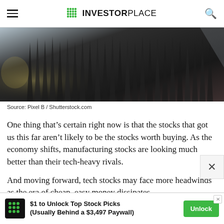INVESTORPLACE
[Figure (photo): Close-up photo of rows of dark metallic pencil tips or similar pointed objects arranged in a pattern, with blurred background elements.]
Source: Pixel B / Shutterstock.com
One thing that’s certain right now is that the stocks that got us this far aren’t likely to be the stocks worth buying. As the economy shifts, manufacturing stocks are looking much better than their tech-heavy rivals.
And moving forward, tech stocks may face more headwinds as the era of cheap, easy money dissipates